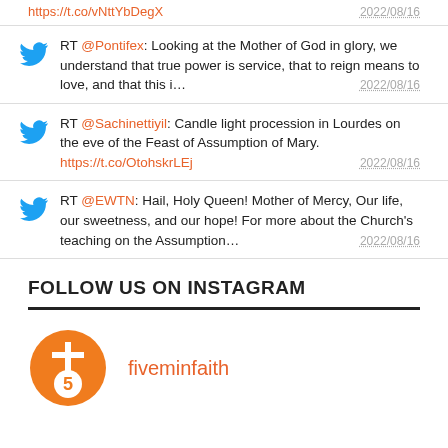https://t.co/vNttYbDegX  2022/08/16
RT @Pontifex: Looking at the Mother of God in glory, we understand that true power is service, that to reign means to love, and that this i…  2022/08/16
RT @Sachinettiyil: Candle light procession in Lourdes on the eve of the Feast of Assumption of Mary. https://t.co/OtohskrLEj  2022/08/16
RT @EWTN: Hail, Holy Queen! Mother of Mercy, Our life, our sweetness, and our hope! For more about the Church's teaching on the Assumption…  2022/08/16
FOLLOW US ON INSTAGRAM
fiveminfaith